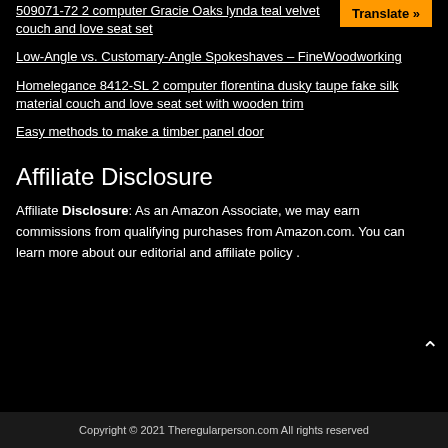509071-72 2 computer Gracie Oaks lynda teal velvet couch and love seat set
Low-Angle vs. Customary-Angle Spokeshaves – FineWoodworking
Homelegance 8412-SL 2 computer florentina dusky taupe fake silk material couch and love seat set with wooden trim
Easy methods to make a timber panel door
Affiliate Disclosure
Affiliate Disclosure: As an Amazon Associate, we may earn commissions from qualifying purchases from Amazon.com. You can learn more about our editorial and affiliate policy .
Copyright © 2021 Theregularperson.com All rights reserved